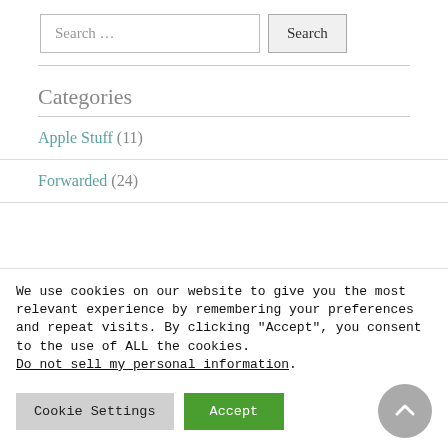Search …
Categories
Apple Stuff (11)
Forwarded (24)
We use cookies on our website to give you the most relevant experience by remembering your preferences and repeat visits. By clicking "Accept", you consent to the use of ALL the cookies. Do not sell my personal information.
Cookie Settings
Accept